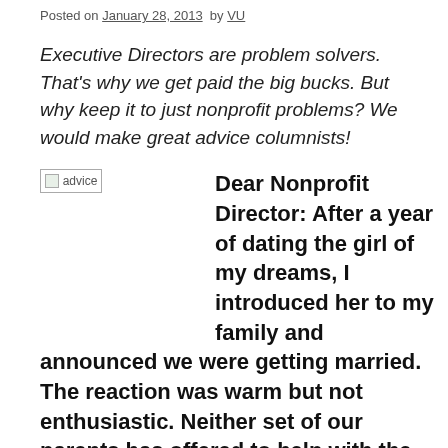Posted on January 28, 2013  by VU
Executive Directors are problem solvers. That's why we get paid the big bucks. But why keep it to just nonprofit problems? We would make great advice columnists!
[Figure (other): Broken image placeholder labeled 'advice']
Dear Nonprofit Director: After a year of dating the girl of my dreams, I introduced her to my family and announced we were getting married. The reaction was warm but not enthusiastic. Neither set of our parents has offered to help with the costs of the wedding happening next